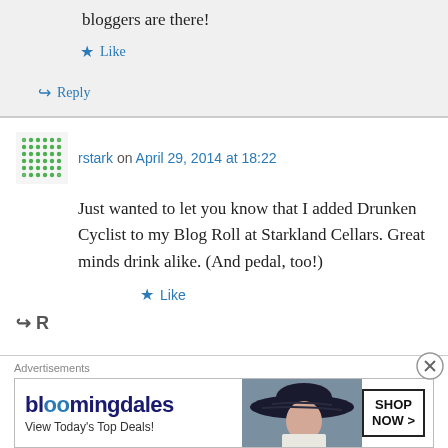bloggers are there!
★ Like
↪ Reply
rstark on April 29, 2014 at 18:22
Just wanted to let you know that I added Drunken Cyclist to my Blog Roll at Starkland Cellars. Great minds drink alike. (And pedal, too!)
★ Like
Advertisements
[Figure (screenshot): Bloomingdale's advertisement banner: 'View Today's Top Deals!' with SHOP NOW > button and woman in hat]